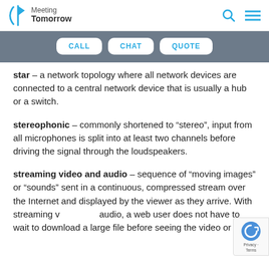Meeting Tomorrow
CALL   CHAT   QUOTE
star – a network topology where all network devices are connected to a central network device that is usually a hub or a switch.
stereophonic – commonly shortened to “stereo”, input from all microphones is split into at least two channels before driving the signal through the loudspeakers.
streaming video and audio – sequence of “moving images” or “sounds” sent in a continuous, compressed stream over the Internet and displayed by the viewer as they arrive. With streaming video and audio, a web user does not have to wait to download a large file before seeing the video or